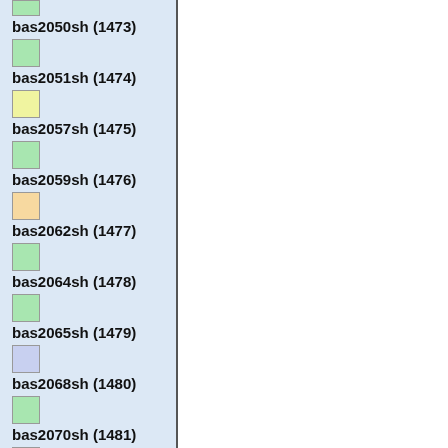bas2050sh (1473)
bas2051sh (1474)
bas2057sh (1475)
bas2059sh (1476)
bas2062sh (1477)
bas2064sh (1478)
bas2065sh (1479)
bas2068sh (1480)
bas2070sh (1481)